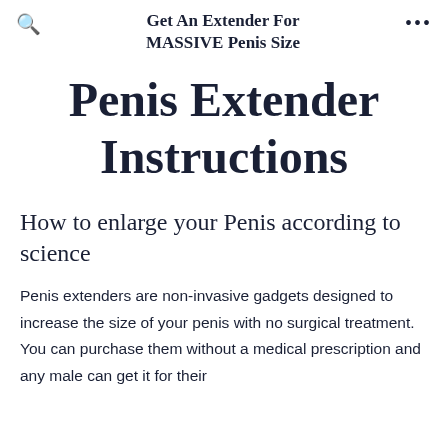Get An Extender For MASSIVE Penis Size
Penis Extender Instructions
How to enlarge your Penis according to science
Penis extenders are non-invasive gadgets designed to increase the size of your penis with no surgical treatment. You can purchase them without a medical prescription and any male can get it for their